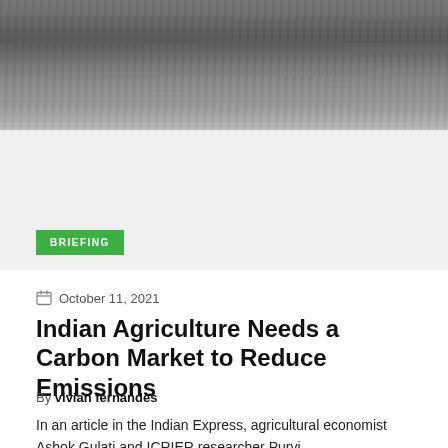[Figure (photo): Gray textured surface photograph, likely soil or road, occupying the top portion of the page]
BRIEFING
October 11, 2021
Indian Agriculture Needs a Carbon Market to Reduce Emissions
By vivian fernandes
In an article in the Indian Express, agricultural economist Ashok Gulati and ICRIER researcher Purvi...